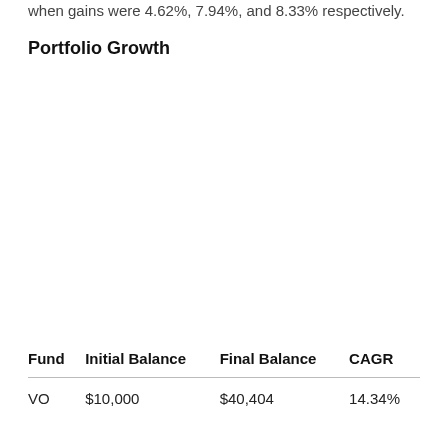when gains were 4.62%, 7.94%, and 8.33% respectively.
Portfolio Growth
| Fund | Initial Balance | Final Balance | CAGR |
| --- | --- | --- | --- |
| VO | $10,000 | $40,404 | 14.34% |